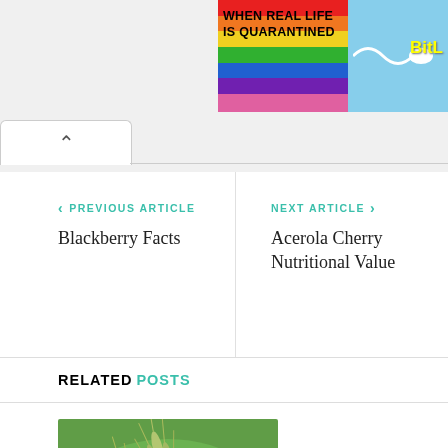[Figure (screenshot): Advertisement banner with rainbow stripes and text 'WHEN REAL LIFE IS QUARANTINED' with 'BitL' logo on blue sky background]
^ (collapse tab button)
< PREVIOUS ARTICLE
Blackberry Facts
NEXT ARTICLE >
Acerola Cherry Nutritional Value
RELATED POSTS
[Figure (photo): Close-up photo of green wheat or grass seed heads against blurred green background]